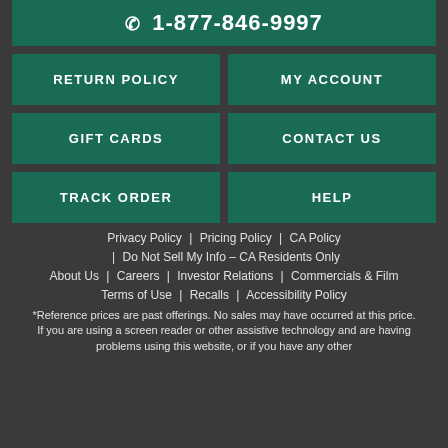☎ 1-877-846-9997
RETURN POLICY
MY ACCOUNT
GIFT CARDS
CONTACT US
TRACK ORDER
HELP
Privacy Policy  |  Pricing Policy  |  CA Policy
|  Do Not Sell My Info – CA Residents Only
About Us  |  Careers  |  Investor Relations  |  Commercials & Film
Terms of Use  |  Recalls  |  Accessibility Policy
*Reference prices are past offerings. No sales may have occurred at this price. If you are using a screen reader or other assistive technology and are having problems using this website, or if you have any other difficulties, please call 1-877-846-9997 f...